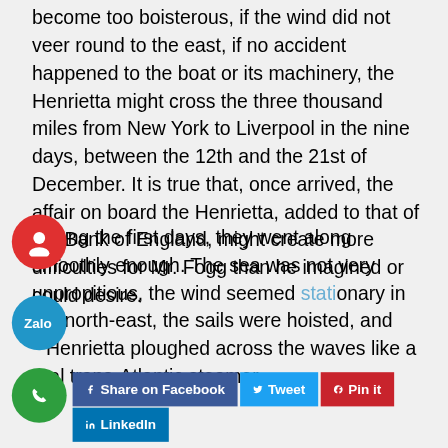become too boisterous, if the wind did not veer round to the east, if no accident happened to the boat or its machinery, the Henrietta might cross the three thousand miles from New York to Liverpool in the nine days, between the 12th and the 21st of December. It is true that, once arrived, the affair on board the Henrietta, added to that of the Bank of England, might create more difficulties for Mr. Fogg than he imagined or could desire.
During the first days, they went along smoothly enough. The sea was not very unpropitious, the wind seemed stationary in the north-east, the sails were hoisted, and Henrietta ploughed across the waves like a real trans-Atlantic steamer.
[Figure (other): Red circular icon with a person/profile symbol (social sharing UI element)]
[Figure (other): Blue circular icon with Zalo logo (social sharing UI element)]
[Figure (other): Green circular icon with phone/call symbol (social sharing UI element)]
Share on Facebook
Tweet
Pin it
LinkedIn